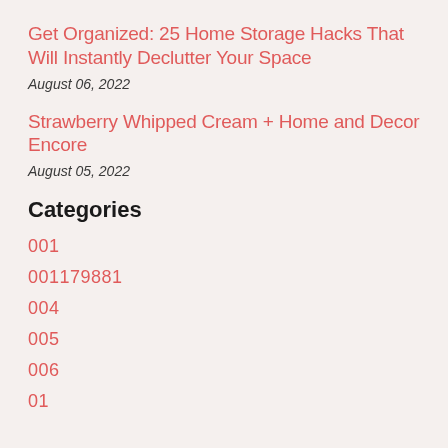Get Organized: 25 Home Storage Hacks That Will Instantly Declutter Your Space
August 06, 2022
Strawberry Whipped Cream + Home and Decor Encore
August 05, 2022
Categories
001
001179881
004
005
006
01